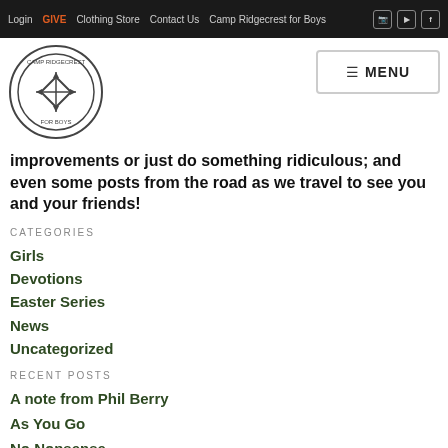Login  GIVE  Clothing Store  Contact Us  Camp Ridgecrest for Boys
improvements or just do something ridiculous; and even some posts from the road as we travel to see you and your friends!
CATEGORIES
Girls
Devotions
Easter Series
News
Uncategorized
RECENT POSTS
A note from Phil Berry
As You Go
No Nonsense